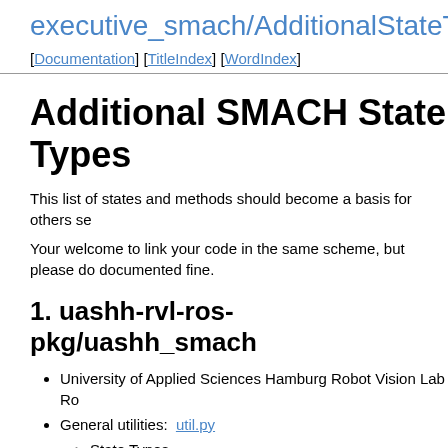executive_smach/AdditionalStateTypes
[Documentation] [TitleIndex] [WordIndex]
Additional SMACH State Types
This list of states and methods should become a basis for others se
Your welcome to link your code in the same scheme, but please do documented fine.
1. uashh-rvl-ros-pkg/uashh_smach
University of Applied Sciences Hamburg Robot Vision Lab Ro
General utilities:  util.py
State Types
WaitForMsgState - This class acts as a gener flexible usage.
SleepState - Sleep for a time duration, given e
PromptState - Prompt and wait for user action
CheckSmachEnabledState(WaitForMsgSta